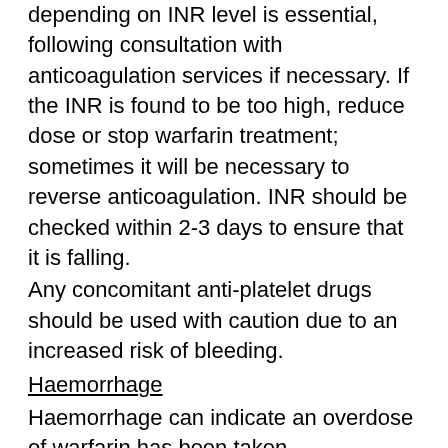depending on INR level is essential, following consultation with anticoagulation services if necessary. If the INR is found to be too high, reduce dose or stop warfarin treatment; sometimes it will be necessary to reverse anticoagulation. INR should be checked within 2-3 days to ensure that it is falling.
Any concomitant anti-platelet drugs should be used with caution due to an increased risk of bleeding.
Haemorrhage
Haemorrhage can indicate an overdose of warfarin has been taken.
If haemorrhage occurs overdose should be suspected. Bleeding may occur at therapeutic INR values, in which case the possibility of an